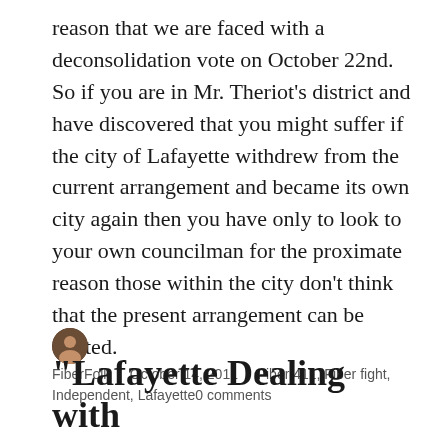reason that we are faced with a deconsolidation vote on October 22nd. So if you are in Mr. Theriot's district and have discovered that you might suffer if the city of Lafayette withdrew from the current arrangement and became its own city again then you have only to look to your own councilman for the proximate reason those within the city don't think that the present arrangement can be trusted.
FiberFolk / October 14, 2011 / Fiber 411, Fiber fight, Independent, Lafayette0 comments
"Lafayette Dealing with